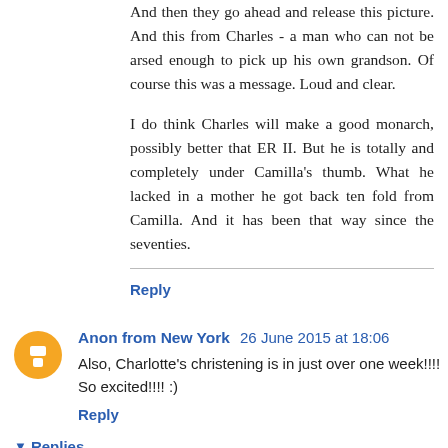And then they go ahead and release this picture. And this from Charles - a man who can not be arsed enough to pick up his own grandson. Of course this was a message. Loud and clear.
I do think Charles will make a good monarch, possibly better that ER II. But he is totally and completely under Camilla's thumb. What he lacked in a mother he got back ten fold from Camilla. And it has been that way since the seventies.
Reply
Anon from New York 26 June 2015 at 18:06
Also, Charlotte's christening is in just over one week!!!! So excited!!!! :)
Reply
Replies